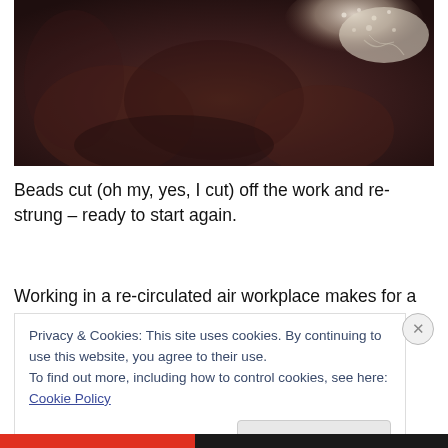[Figure (photo): Close-up photograph of dark brown/mauve fuzzy fabric with white lace or crocheted material visible in the upper right corner]
Beads cut (oh my, yes, I cut) off the work and re-strung – ready to start again.
Working in a re-circulated air workplace makes for a dry
Privacy & Cookies: This site uses cookies. By continuing to use this website, you agree to their use.
To find out more, including how to control cookies, see here: Cookie Policy
Close and accept